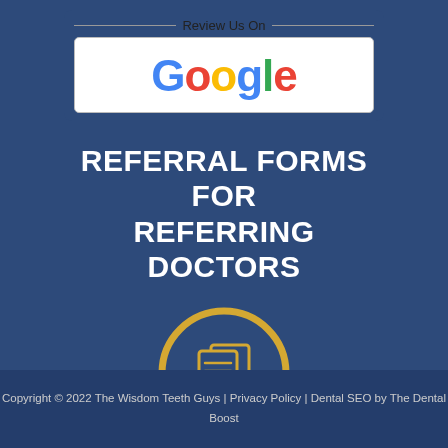[Figure (logo): Review Us On Google logo box with Google wordmark in brand colors]
REFERRAL FORMS FOR REFERRING DOCTORS
[Figure (illustration): Document/referral forms icon inside a golden circle outline]
Copyright © 2022 The Wisdom Teeth Guys | Privacy Policy | Dental SEO by The Dental Boost